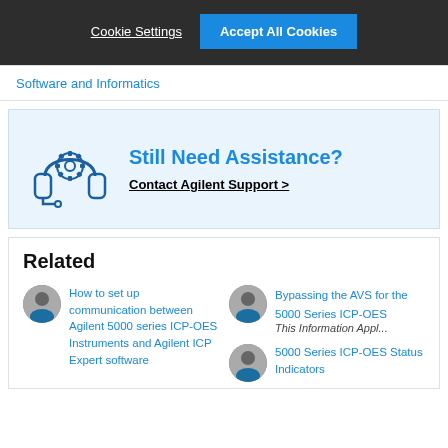Cookie Settings   Accept All Cookies
Software and Informatics
[Figure (illustration): Headset with gear/cog icon illustration]
Still Need Assistance?
Contact Agilent Support >
Related
How to set up communication between Agilent 5000 series ICP-OES Instruments and Agilent ICP Expert software
Bypassing the AVS for the 5000 Series ICP-OES
This Information Appl...
5000 Series ICP-OES Status Indicators